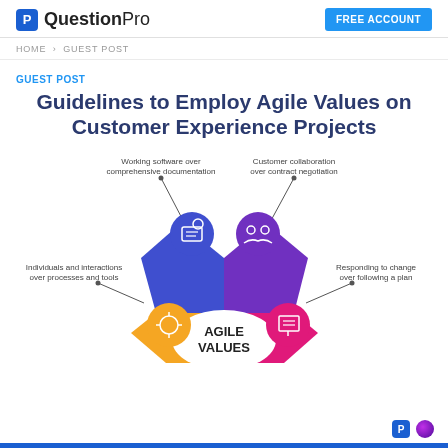QuestionPro — FREE ACCOUNT
HOME > GUEST POST
GUEST POST
Guidelines to Employ Agile Values on Customer Experience Projects
[Figure (infographic): Agile Values infographic showing four colored pentagon/segment shapes arranged in a semi-circle with a white center labeled AGILE VALUES. Four values are labeled: 'Working software over comprehensive documentation' (blue, top-left), 'Customer collaboration over contract negotiation' (purple, top-right), 'Individuals and interactions over processes and tools' (orange, bottom-left), 'Responding to change over following a plan' (pink, bottom-right).]